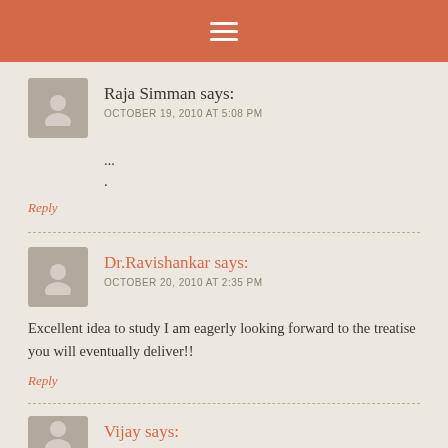☰ (navigation menu icon)
Raja Simman says:
OCTOBER 19, 2010 AT 5:08 PM
...
.
Reply
Dr.Ravishankar says:
OCTOBER 20, 2010 AT 2:35 PM
Excellent idea to study I am eagerly looking forward to the treatise you will eventually deliver!!
Reply
Vijay says: